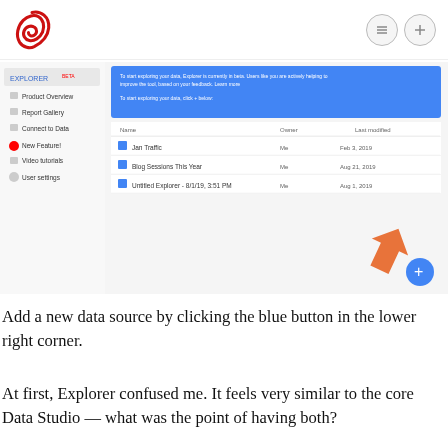[Figure (screenshot): Screenshot of Google Data Studio Explorer interface showing a sidebar navigation with Product Overview, Report Gallery, Connect to Data, New Feature!, Video tutorials, User settings, and a main content area with a blue banner, a table listing data sources (Jan Traffic, Blog Sessions This Year, Untitled Explorer), and a blue plus button in the lower right corner with an orange arrow pointing to it.]
Add a new data source by clicking the blue button in the lower right corner.
At first, Explorer confused me. It feels very similar to the core Data Studio — what was the point of having both?